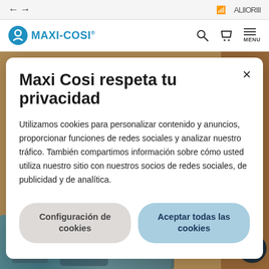Maxi-Cosi website navigation header
Maxi Cosi respeta tu privacidad
Utilizamos cookies para personalizar contenido y anuncios, proporcionar funciones de redes sociales y analizar nuestro tráfico. También compartimos información sobre cómo usted utiliza nuestro sitio con nuestros socios de redes sociales, de publicidad y de analítica.
Configuración de cookies
Aceptar todas las cookies
[Figure (screenshot): Car interior seat image visible behind the modal dialog]
[Figure (screenshot): Background content with orange/tan colored strips]